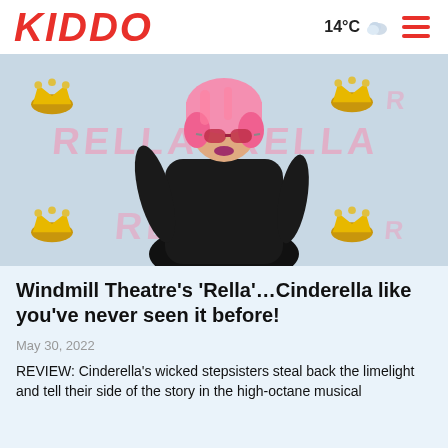KIDDO  14°C  ☰
[Figure (photo): A person wearing a pink bob wig, heart-shaped pink sunglasses, and a black lace long-sleeve top, posing against a promotional backdrop with 'RELLA' text and crown/ring graphics in pink and gold.]
Windmill Theatre's 'Rella'…Cinderella like you've never seen it before!
May 30, 2022
REVIEW: Cinderella's wicked stepsisters steal back the limelight and tell their side of the story in the high-octane musical